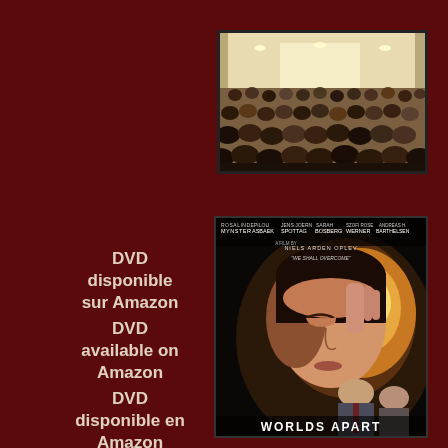[Figure (photo): A photo showing an audience seated at what appears to be a large indoor meeting or convention hall, viewed from behind. Rows of people in formal attire facing a stage with bright lighting at the back.]
[Figure (photo): Movie poster for 'Worlds Apart' showing a young woman's face in close-up with dramatic lighting, and two men in suits in the background. Cast names at the top include Rosalinde Mynster, Pilou Asbaek, Jens Joern Spottag, Sarah Boberg, Szofi Rose Werner, Andreas H. Barthelsen. Directed by Niels Arden Oplev.]
DVD disponible sur Amazon
DVD available on Amazon
DVD disponible en Amazon